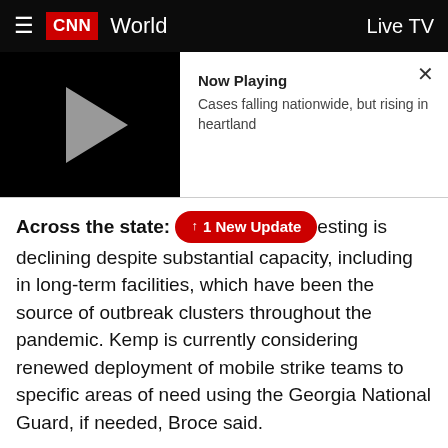CNN World | Live TV
[Figure (screenshot): CNN video player with play button on black background, showing 'Now Playing: Cases falling nationwide, but rising in heartland' with a close X button]
Across the state: [1 New Update] testing is declining despite substantial capacity, including in long-term facilities, which have been the source of outbreak clusters throughout the pandemic. Kemp is currently considering renewed deployment of mobile strike teams to specific areas of need using the Georgia National Guard, if needed, Broce said.
Still, more than five months into the pandemic Georgia's governor remains unwilling to mandate masks statewide, something public health officials say would help slow the spread of the disease.